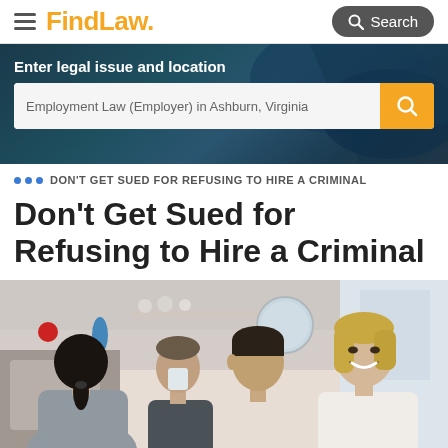FindLaw — Search
[Figure (screenshot): FindLaw website header with hamburger menu, FindLaw logo in orange, and a dark Search button with magnifying glass icon]
[Figure (screenshot): Hero search area with dark teal/blue background, label 'Enter legal issue and location', search bar showing 'Employment Law (Employer) in Ashburn, Virginia' with orange search button]
DON'T GET SUED FOR REFUSING TO HIRE A CRIMINAL
Don't Get Sued for Refusing to Hire a Criminal
[Figure (photo): Restaurant or cafe scene showing four people — a woman with dark hair in a ponytail facing away, a man in background, and two women facing forward, one with short dark hair and one with blonde hair, in a bright indoor setting]